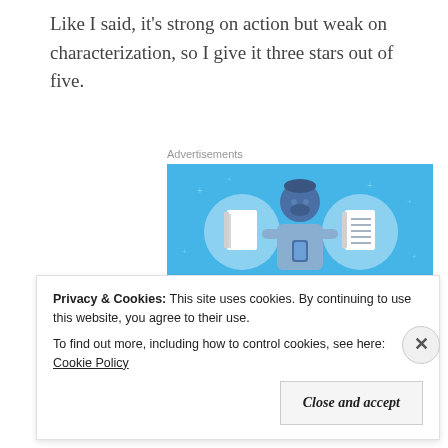Like I said, it's strong on action but weak on characterization, so I give it three stars out of five.
Advertisements
[Figure (illustration): Day One journaling app advertisement. Blue background with illustrated man holding a phone, flanked by two circular icons showing a notebook and a lined notebook. Text reads 'DAY ONE' and 'The only journaling']
Privacy & Cookies:  This site uses cookies. By continuing to use this website, you agree to their use.
To find out more, including how to control cookies, see here: Cookie Policy
Close and accept